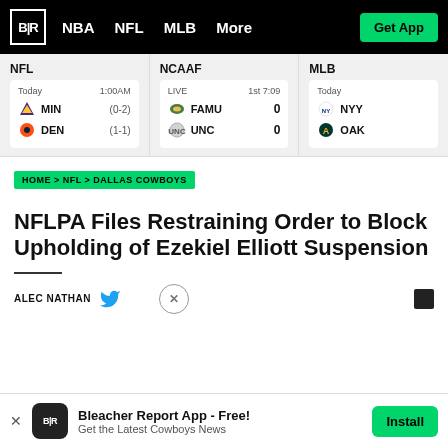B|R  NBA  NFL  MLB  More  Get App
NFL  Today  1:00AM  MIN (0-2)  DEN (1-1)
NCAAF  LIVE  1st 7:09  FAMU 0  UNC 0
MLB  Today  NYY  OAK
HOME > NFL > DALLAS COWBOYS
NFLPA Files Restraining Order to Block Upholding of Ezekiel Elliott Suspension
ALEC NATHAN
Bleacher Report App - Free! Get the Latest Cowboys News  Install